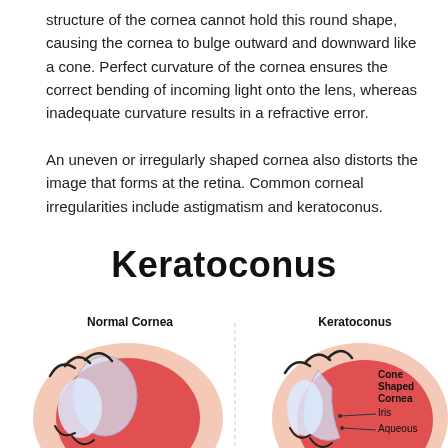structure of the cornea cannot hold this round shape, causing the cornea to bulge outward and downward like a cone. Perfect curvature of the cornea ensures the correct bending of incoming light onto the lens, whereas inadequate curvature results in a refractive error.
An uneven or irregularly shaped cornea also distorts the image that forms at the retina. Common corneal irregularities include astigmatism and keratoconus.
Keratoconus
[Figure (illustration): Medical illustration comparing a Normal Cornea (left) and Keratoconus (right). The normal cornea shows a rounded dome shape. The keratoconus side shows a cone-shaped cornea protruding outward. Labels indicate: Cone Shaped Cornea, Iris, Aqueous. Both diagrams show cross-sectional views of the eye with pink/red tissue, white sclera, and dark eyelash details.]